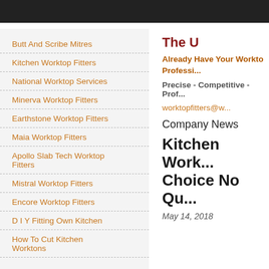Butt And Scribe Mitres
Kitchen Worktop Fitters
National Worktop Services
Minerva Worktop Fitters
Earthstone Worktop Fitters
Maia Worktop Fitters
Apollo Slab Tech Worktop Fitters
Mistral Worktop Fitters
Encore Worktop Fitters
D I Y Fitting Own Kitchen
How To Cut Kitchen Worktons
The U
Already Have Your Workto... Professi...
Precise - Competitive - Prof...
worktopfitters@w...
Company News
Kitchen Work... Choice No Qu...
May 14, 2018